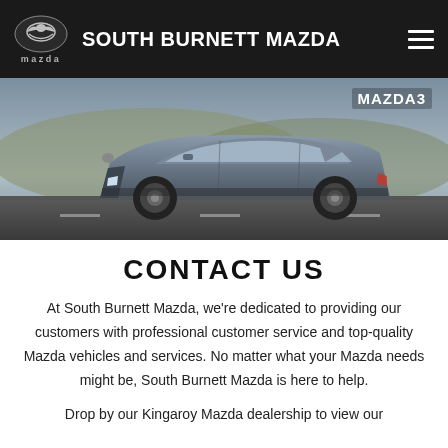SOUTH BURNETT MAZDA
[Figure (photo): A grey Mazda3 hatchback driving on a road with a blurred background. Label 'MAZDA3' appears in the top right corner.]
CONTACT US
At South Burnett Mazda, we're dedicated to providing our customers with professional customer service and top-quality Mazda vehicles and services. No matter what your Mazda needs might be, South Burnett Mazda is here to help.
Drop by our Kingaroy Mazda dealership to view our